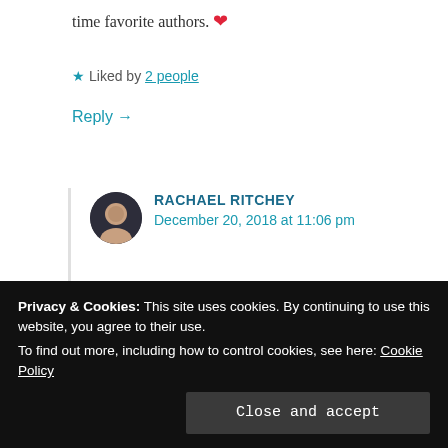time favorite authors. ❤
★ Liked by 2 people
Reply →
RACHAEL RITCHEY
December 20, 2018 at 11:06 pm
We're fans around here too! 😀 I'll pass on your compliments. ❤
★ Liked by 1 person
Privacy & Cookies: This site uses cookies. By continuing to use this website, you agree to their use.
To find out more, including how to control cookies, see here: Cookie Policy
Close and accept